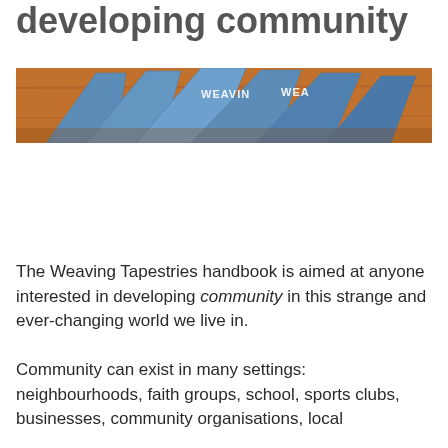developing community
[Figure (photo): Photo of blue booklets/handbooks with 'WEAVING' text visible on them, fanned out on a wooden surface]
The Weaving Tapestries handbook is aimed at anyone interested in developing community in this strange and ever-changing world we live in.
Community can exist in many settings: neighbourhoods, faith groups, school, sports clubs, businesses, community organisations, local